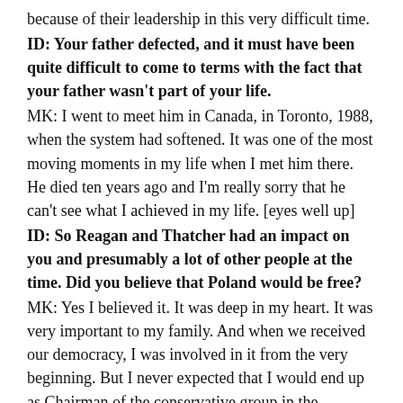because of their leadership in this very difficult time.
ID: Your father defected, and it must have been quite difficult to come to terms with the fact that your father wasn't part of your life.
MK: I went to meet him in Canada, in Toronto, 1988, when the system had softened. It was one of the most moving moments in my life when I met him there. He died ten years ago and I'm really sorry that he can't see what I achieved in my life. [eyes well up]
ID: So Reagan and Thatcher had an impact on you and presumably a lot of other people at the time. Did you believe that Poland would be free?
MK: Yes I believed it. It was deep in my heart. It was very important to my family. And when we received our democracy, I was involved in it from the very beginning. But I never expected that I would end up as Chairman of the conservative group in the European Parliament! It's unbelievable and I'm sorry that my father couldn't see it; it's really fantastic what we've achieved. With all the differences we are talking about, life in Poland now – if you come to Warsaw – it feels like a western state, it's a western capital. However, it's on the east of Europe. I am